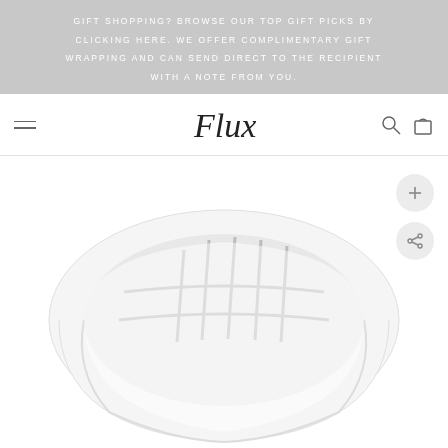GIFT SHOPPING? BROWSE OUR TOP GIFT PICKS BY CLICKING HERE. WE OFFER COMPLIMENTARY GIFT WRAPPING AND CAN SEND DIRECT TO THE RECIPIENT WITH A NOTE FROM YOU.
[Figure (logo): Flux script logo in handwritten style]
[Figure (photo): White organizer/desk caddy with grey internal dividers creating multiple compartments, photographed from above at an angle on a white background]